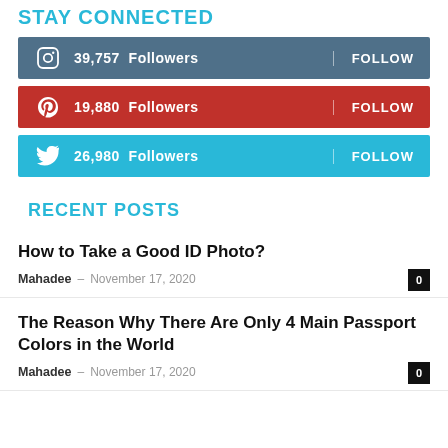STAY CONNECTED
39,757 Followers  FOLLOW
19,880 Followers  FOLLOW
26,980 Followers  FOLLOW
RECENT POSTS
How to Take a Good ID Photo?
Mahadee – November 17, 2020  0
The Reason Why There Are Only 4 Main Passport Colors in the World
Mahadee – November 17, 2020  0